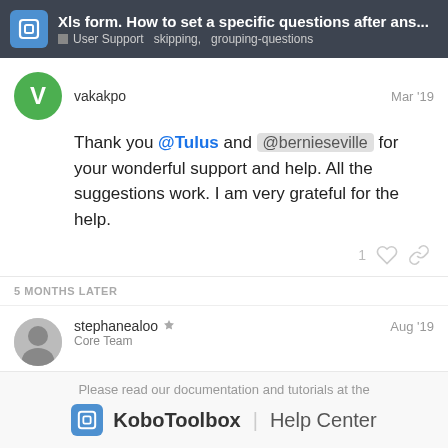Xls form. How to set a specific questions after ans... | User Support  skipping,  grouping-questions
vakakpo
Mar '19
Thank you @Tulus and @bernieseville for your wonderful support and help. All the suggestions work. I am very grateful for the help.
5 MONTHS LATER
stephanealoo  Core Team
Aug '19
Hi
Please read our documentation and tutorials at the KoboToolbox | Help Center